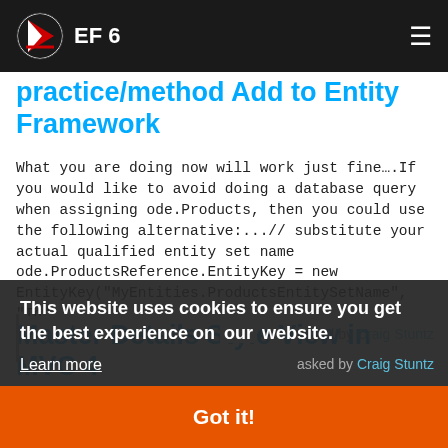EF 6
practice/method Add to Entity Framework
What you are doing now will work just fine….If you would like to avoid doing a database query when assigning ode.Products, then you could use the following alternative:...// substitute your actual qualified entity set name
ode.ProductsReference.EntityKey = new EntityKey("MyEntities.ProductsEntitySetName", "Id", TheIdValueGoesHere); asked by Craig Stuntz
This website uses cookies to ensure you get the best experience on our website.
Learn more
Got it!
Master Details Style View in MVC 4